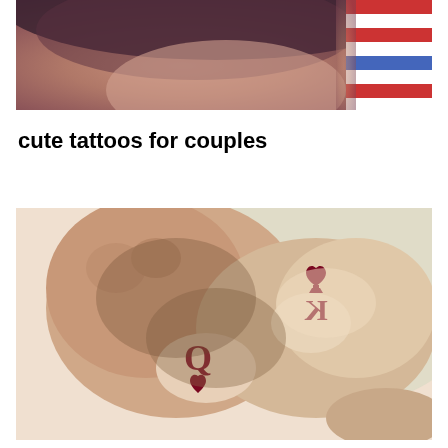[Figure (photo): Close-up photo of a person's face/chin area, with a striped red-white-blue fabric visible in the background on the right side.]
cute tattoos for couples
[Figure (photo): Photograph of two interlinked hands/fingers showing matching couple tattoos: one hand has a 'Q' (Queen) with a heart below it, and the other hand has a 'K' (King) with a spade/heart above it, both tattoos in dark red ink.]